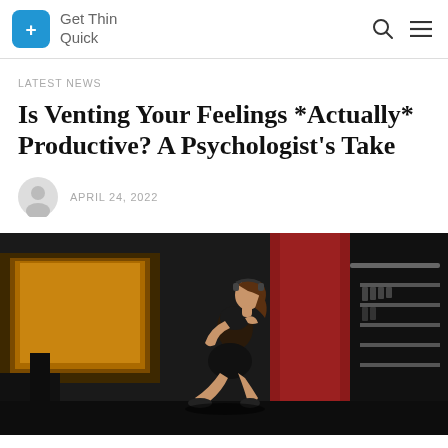Get Thin Quick
LATEST NEWS
Is Venting Your Feelings *Actually* Productive? A Psychologist's Take
APRIL 24, 2022
[Figure (photo): A woman in athletic wear doing a squat exercise in a gym, side profile view, with dumbbells rack visible in background]